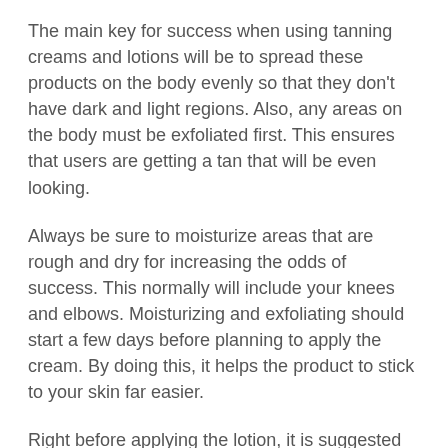The main key for success when using tanning creams and lotions will be to spread these products on the body evenly so that they don't have dark and light regions. Also, any areas on the body must be exfoliated first. This ensures that users are getting a tan that will be even looking.
Always be sure to moisturize areas that are rough and dry for increasing the odds of success. This normally will include your knees and elbows. Moisturizing and exfoliating should start a few days before planning to apply the cream. By doing this, it helps the product to stick to your skin far easier.
Right before applying the lotion, it is suggested to shower first and use a mild body wash. It will smooth out the rough areas as well as removing any dead skin cells. Also, it's advised to wax or shave your legs also to make sure they are at their absolute smoothest before beginning the process.